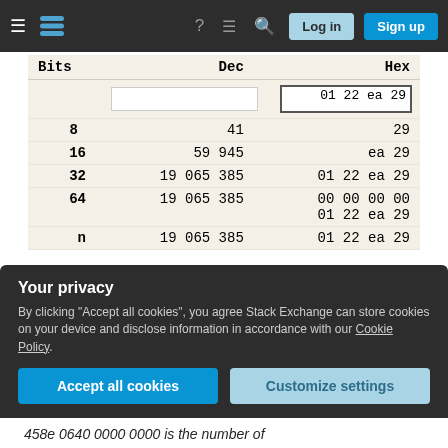Stack Exchange navigation bar with hamburger, logo, help, chat, search, Log in, Sign up
| Bits | Dec | Hex |
| --- | --- | --- |
|  | (input box) | 01 22 ea 29 |
| 8 | 41 | 29 |
| 16 | 59 945 | ea 29 |
| 32 | 19 065 385 | 01 22 ea 29 |
| 64 | 19 065 385 | 00 00 00 00
01 22 ea 29 |
| n | 19 065 385 | 01 22 ea 29 |
In Linux (alandooz's Ubuntu Live thumb drive) the result looks like this:
Your privacy
By clicking "Accept all cookies", you agree Stack Exchange can store cookies on your device and disclose information in accordance with our Cookie Policy.
458e 0640 0000 0000 is the number of